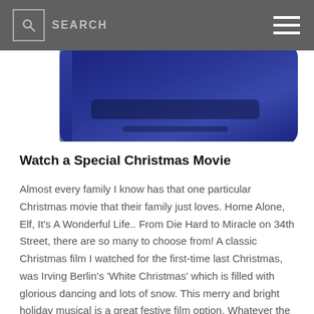SEARCH
[Figure (photo): Partial view of a dark navy blue smartphone device, showing the top portion against a white background.]
Watch a Special Christmas Movie
Almost every family I know has that one particular Christmas movie that their family just loves. Home Alone, Elf, It's A Wonderful Life.. From Die Hard to Miracle on 34th Street, there are so many to choose from! A classic Christmas film I watched for the first-time last Christmas, was Irving Berlin's 'White Christmas' which is filled with glorious dancing and lots of snow. This merry and bright holiday musical is a great festive film option. Whatever the perfect movie is for you and yours, get cosy, whip up/out